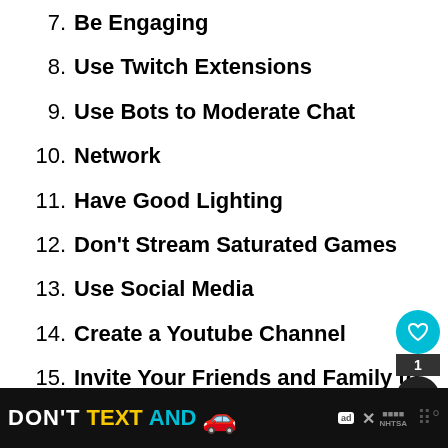7. Be Engaging
8. Use Twitch Extensions
9. Use Bots to Moderate Chat
10. Network
11. Have Good Lighting
12. Don't Stream Saturated Games
13. Use Social Media
14. Create a Youtube Channel
15. Invite Your Friends and Family to
[Figure (infographic): Ad banner at bottom: DON'T TEXT AND [car emoji] with NHTSA branding and close button]